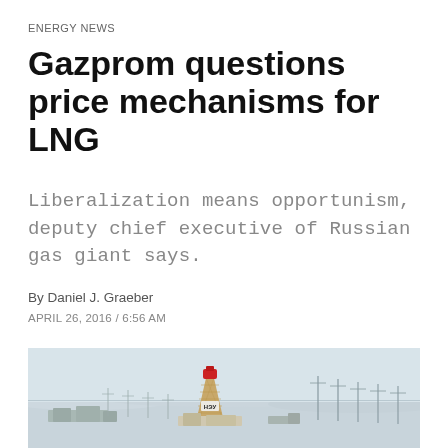ENERGY NEWS
Gazprom questions price mechanisms for LNG
Liberalization means opportunism, deputy chief executive of Russian gas giant says.
By Daniel J. Graeber
APRIL 26, 2016 / 6:56 AM
[Figure (photo): Arctic or snowy landscape with an industrial tower/structure featuring a red top, surrounded by a flat snowy plain with utility poles in the background and industrial facilities at the base. A Cyrillic sign reading НЭУ is visible on the structure.]